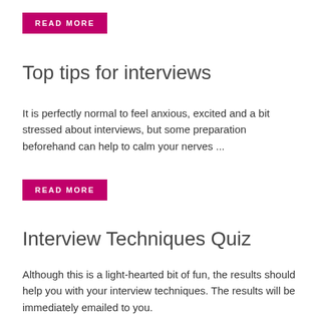READ MORE
Top tips for interviews
It is perfectly normal to feel anxious, excited and a bit stressed about interviews, but some preparation beforehand can help to calm your nerves ...
READ MORE
Interview Techniques Quiz
Although this is a light-hearted bit of fun, the results should help you with your interview techniques. The results will be immediately emailed to you.
READ MORE